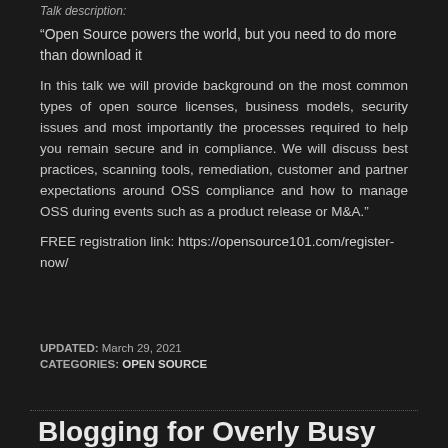Talk description:
“Open Source powers the world, but you need to do more than download it
In this talk we will provide background on the most common types of open source licenses, business models, security issues and most importantly the processes required to help you remain secure and in compliance. We will discuss best practices, scanning tools, remediation, customer and partner expectations around OSS compliance and how to manage OSS during events such as a product release or M&A.”
FREE registration link: https://opensource101.com/register-now/
UPDATED: March 29, 2021
CATEGORIES: OPEN SOURCE
Blogging for Overly Busy